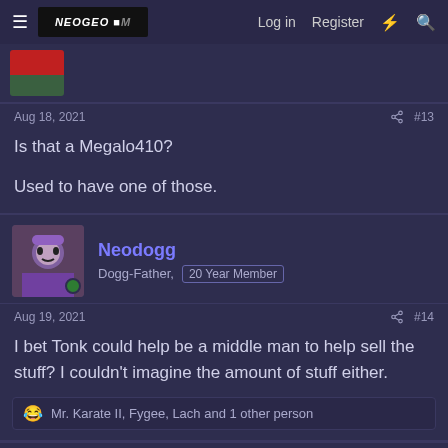NeoGe... | Log in | Register
Aug 18, 2021   #13
Is that a Megalo410?

Used to have one of those.
Neodogg
Dogg-Father, 20 Year Member
Aug 19, 2021   #14
I bet Tonk could help be a middle man to help sell the stuff? I couldn't imagine the amount of stuff either.
Mr. Karate II, Fygee, Lach and 1 other person
Late
Reichof2or Finnland, 20 Year Member